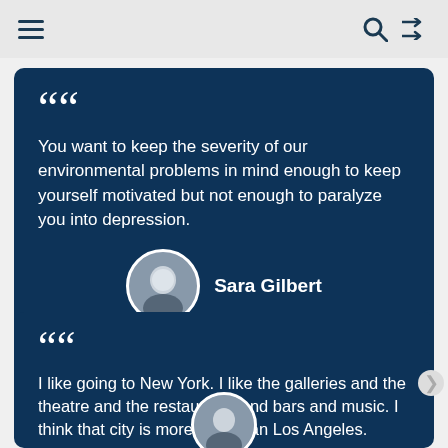Navigation header with hamburger menu, search icon, and shuffle icon
You want to keep the severity of our environmental problems in mind enough to keep yourself motivated but not enough to paralyze you into depression. — Sara Gilbert
I like going to New York. I like the galleries and the theatre and the restaurants and bars and music. I think that city is more alive than Los Angeles.